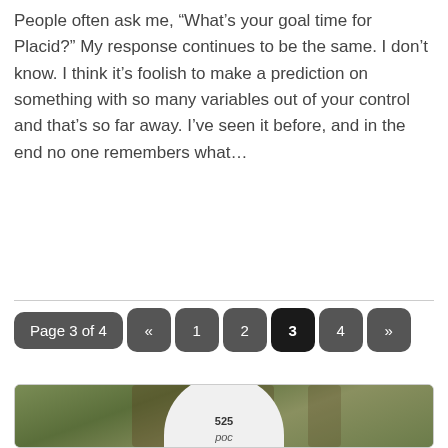People often ask me, “What’s your goal time for Placid?” My response continues to be the same. I don’t know. I think it’s foolish to make a prediction on something with so many variables out of your control and that’s so far away. I’ve seen it before, and in the end no one remembers what…
Read more →
Page 3 of 4 « 1 2 3 4 »
[Figure (photo): Photo of a cyclist wearing a white POC helmet with number 525, with blurred green foliage in background]